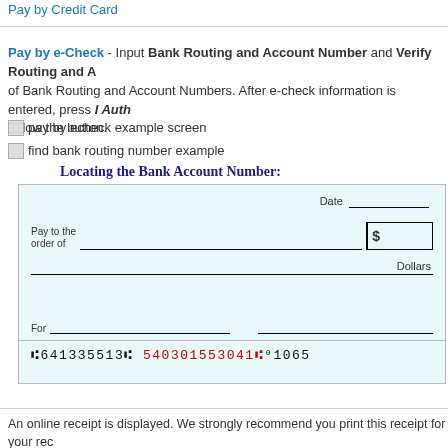Pay by Credit Card
Pay by e-Check - Input Bank Routing and Account Number and Verify Routing and A of Bank Routing and Account Numbers. After e-check information is entered, press I Auth below the button.
[Figure (screenshot): pay by echeck example screen]
[Figure (illustration): find bank routing number example]
Locating the Bank Account Number:
[Figure (illustration): Example check image showing Pay to the order of line, Date, dollar amount box with $ sign, Dollars line, For line, and MICR line at bottom: ⑆641335513⑆ 540301553041⑆⁰1065 with account number in red]
An online receipt is displayed. We strongly recommend you print this receipt for your rec